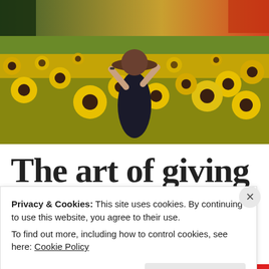[Figure (photo): A woman in a dark dress and brown wide-brim hat stands with arms raised above her head in a large field of bright yellow sunflowers. She is viewed from behind. The sky in the background is warm/sunset-toned.]
The art of giving
Privacy & Cookies: This site uses cookies. By continuing to use this website, you agree to their use.
To find out more, including how to control cookies, see here: Cookie Policy
Close and accept